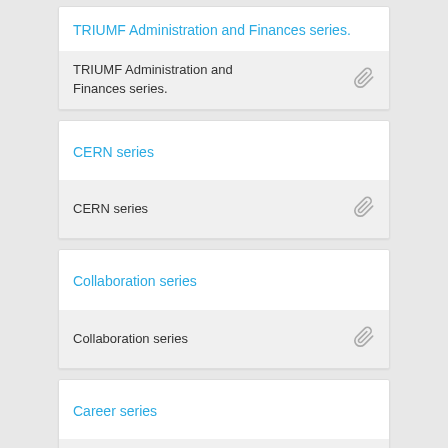TRIUMF Administration and Finances series.
TRIUMF Administration and Finances series.
CERN series
CERN series
Collaboration series
Collaboration series
Career series
Career series